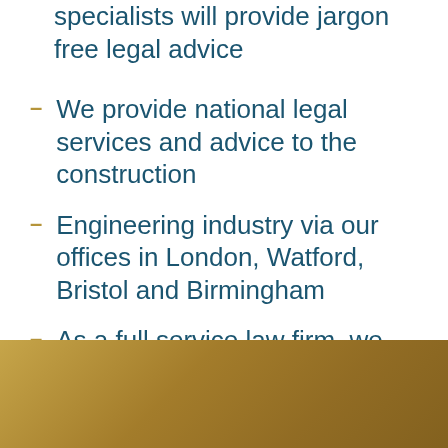specialists will provide jargon free legal advice
We provide national legal services and advice to the construction
Engineering industry via our offices in London, Watford, Bristol and Birmingham
As a full service law firm, we can provide a broad range of legal advice and support.
[Figure (photo): Gold/brown textured background image at the bottom of the page]